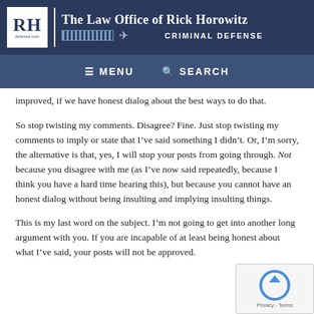The Law Office of Rick Horowitz — CRIMINAL DEFENSE
≡ MENU  🔍 SEARCH
improved, if we have honest dialog about the best ways to do that.
So stop twisting my comments. Disagree? Fine. Just stop twisting my comments to imply or state that I've said something I didn't. Or, I'm sorry, the alternative is that, yes, I will stop your posts from going through. Not because you disagree with me (as I've now said repeatedly, because I think you have a hard time hearing this), but because you cannot have an honest dialog without being insulting and implying insulting things.
This is my last word on the subject. I'm not going to get into another long argument with you. If you are incapable of at least being honest about what I've said, your posts will not be approved.